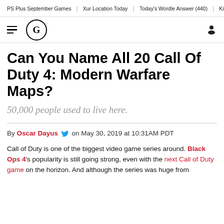PS Plus September Games | Xur Location Today | Today's Wordle Answer (440) | King's F
[Figure (logo): Gamespot G logo in circle with hamburger menu and user icon]
Can You Name All 20 Call Of Duty 4: Modern Warfare Maps?
50,000 people used to live here.
By Oscar Dayus on May 30, 2019 at 10:31AM PDT
Call of Duty is one of the biggest video game series around. Black Ops 4's popularity is still going strong, even with the next Call of Duty game on the horizon. And although the series was huge from